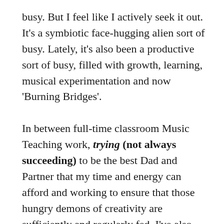busy. But I feel like I actively seek it out. It's a symbiotic face-hugging alien sort of busy. Lately, it's also been a productive sort of busy, filled with growth, learning, musical experimentation and now 'Burning Bridges'.

In between full-time classroom Music Teaching work, trying (not always succeeding) to be the best Dad and Partner that my time and energy can afford and working to ensure that those hungry demons of creativity are sufficiently and regularly fed, I've also been striving towards increased musical output and additional skills as part of a fully-featured DIY Musician. Note: All